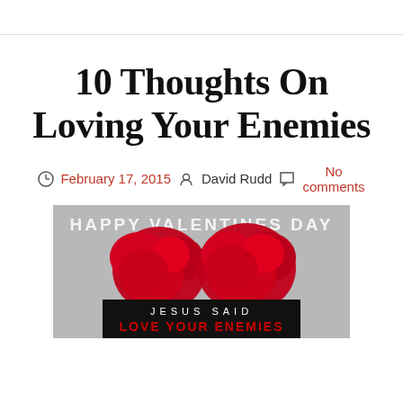10 Thoughts On Loving Your Enemies
February 17, 2015   David Rudd   No comments
[Figure (photo): Valentine's Day themed image with two red floral/heart arrangements on gray background. Text overlay reads 'HAPPY VALENTINES DAY' in white at the top and a black bar at the bottom with 'JESUS SAID' in white and 'LOVE YOUR ENEMIES' in red bold text.]